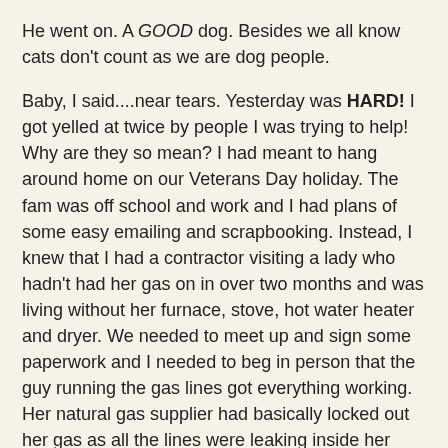He went on. A GOOD dog. Besides we all know cats don't count as we are dog people.
Baby, I said....near tears. Yesterday was HARD! I got yelled at twice by people I was trying to help! Why are they so mean? I had meant to hang around home on our Veterans Day holiday. The fam was off school and work and I had plans of some easy emailing and scrapbooking. Instead, I knew that I had a contractor visiting a lady who hadn't had her gas on in over two months and was living without her furnace, stove, hot water heater and dryer. We needed to meet up and sign some paperwork and I needed to beg in person that the guy running the gas lines got everything working. Her natural gas supplier had basically locked out her gas as all the lines were leaking inside her house. It's a wonder she hadn't blown herself up due to smoking like a fiend.
Here in New York, we are in the middle of our first real cold snap this winter and heating guys are busier than a one eyed cat watching nine rat holes. Besides, the heating dude